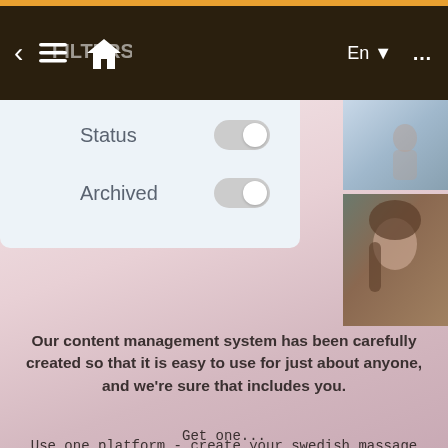[Figure (screenshot): Navigation bar with back arrow, hamburger menu icon, home icon on the left; En language selector with dropdown arrow and ellipsis menu on the right. Dark brown background.]
[Figure (screenshot): Filter panel with Status and Archived toggle switches (both off), on a light blue-gray background. Two portrait photos on the right side.]
Our content management system has been carefully created so that it is easy to use for just about anyone, and we're sure that includes you.
Use one platform - create your swedish massage business website and manage it. Dazzle your customers with a slick presentation, courtesy of Blackbell.
Get one...